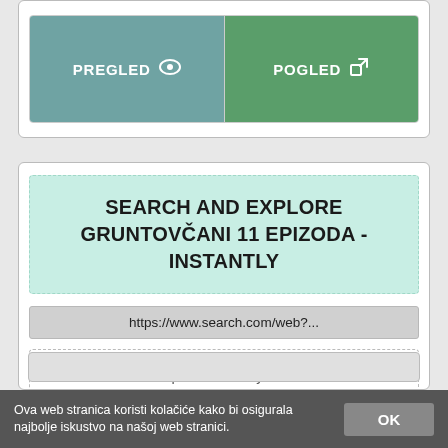[Figure (screenshot): Two buttons side by side: PREGLED (blue-teal, with eye icon) and POGLED (green, with external link icon), inside a white card with border.]
SEARCH AND EXPLORE GRUNTOVČANI 11 EPIZODA - INSTANTLY
https://www.search.com/web?...
Search.com is the place to finally find an answer to all your searches. Immediate results for any search!
Ova web stranica koristi kolačiće kako bi osigurala najbolje iskustvo na našoj web stranici.